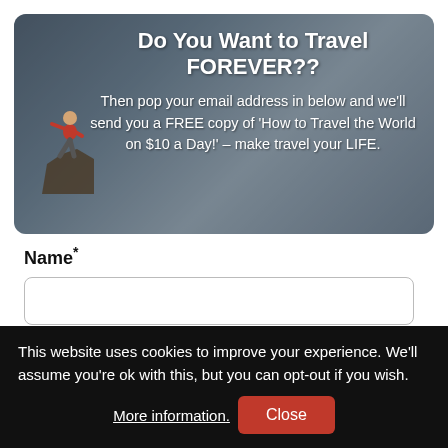[Figure (illustration): Mountain landscape background with a person standing on a rocky cliff, with text overlay promoting a free travel guide.]
Do You Want to Travel FOREVER??
Then pop your email address in below and we'll send you a FREE copy of 'How to Travel the World on $10 a Day!' – make travel your LIFE.
Name*
Email*
This website uses cookies to improve your experience. We'll assume you're ok with this, but you can opt-out if you wish.
More information. Close